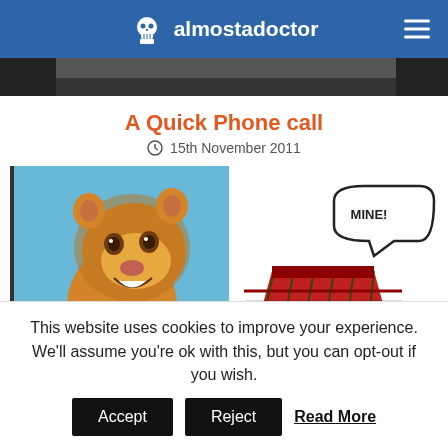almostadoctor
[Figure (photo): Dark header image strip (partially visible photo at top of page)]
A Quick Phone call
15th November 2011
[Figure (illustration): Meme image: Young Simba from Lion King on the left with a speech bubble saying 'MINE!', and a red tartan kilt on the right side]
This website uses cookies to improve your experience. We'll assume you're ok with this, but you can opt-out if you wish.